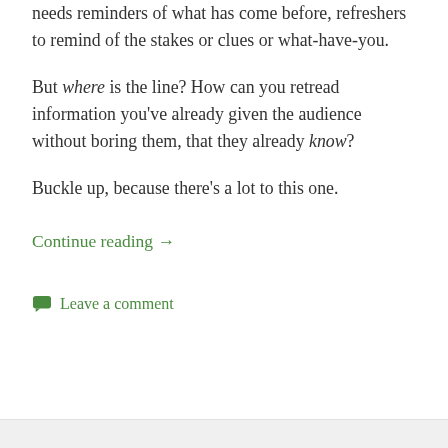in a lot of story types. Sometimes the audience needs reminders of what has come before, refreshers to remind of the stakes or clues or what-have-you.
But where is the line? How can you retread information you’ve already given the audience without boring them, that they already know?
Buckle up, because there’s a lot to this one.
Continue reading →
Leave a comment